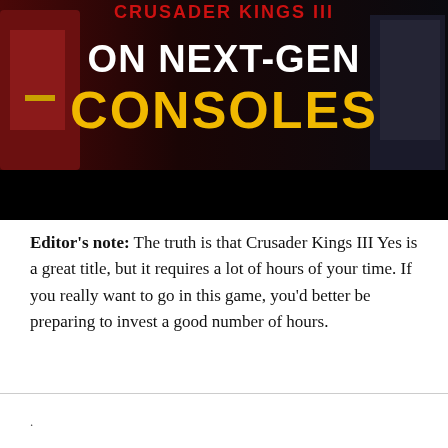[Figure (illustration): Game promotional image with text overlay reading 'ON NEXT-GEN CONSOLES' — white bold text on top, 'CONSOLES' in large gold/yellow bold text. Background shows characters in medieval fantasy armor/robes. Partially obscured red title text at top (Crusader Kings III). Black bar at bottom of image.]
Editor's note: The truth is that Crusader Kings III Yes is a great title, but it requires a lot of hours of your time. If you really want to go in this game, you'd better be preparing to invest a good number of hours.
.